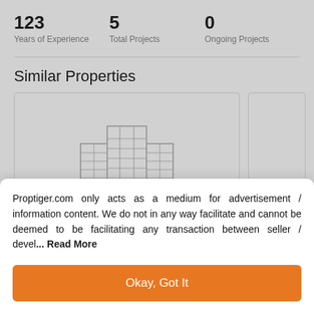123
Years of Experience
5
Total Projects
0
Ongoing Projects
Similar Properties
[Figure (illustration): Building/property placeholder icon in light gray inside a card]
Proptiger.com only acts as a medium for advertisement / information content. We do not in any way facilitate and cannot be deemed to be facilitating any transaction between seller / devel... Read More
Okay, Got It